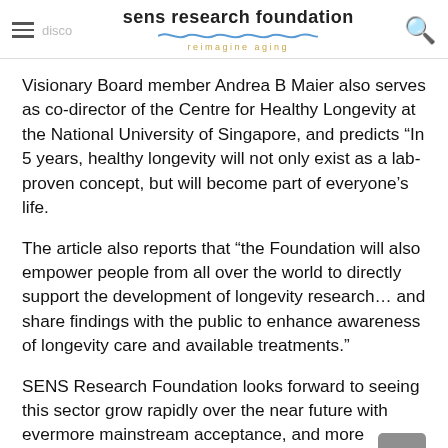sens research foundation reimagine aging
Visionary Board member Andrea B Maier also serves as co-director of the Centre for Healthy Longevity at the National University of Singapore, and predicts “In 5 years, healthy longevity will not only exist as a lab-proven concept, but will become part of everyone’s life.
The article also reports that “the Foundation will also empower people from all over the world to directly support the development of longevity research… and share findings with the public to enhance awareness of longevity care and available treatments.”
SENS Research Foundation looks forward to seeing this sector grow rapidly over the near future with evermore mainstream acceptance, and more resources like the